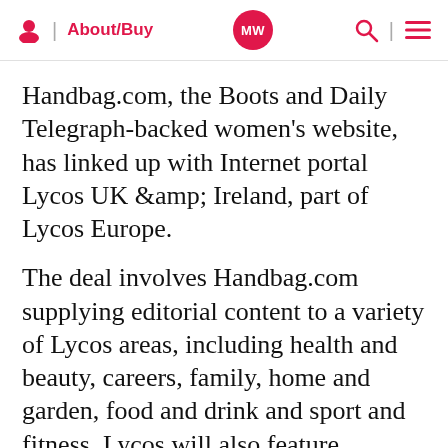About/Buy | MW | (search) (menu)
Handbag.com, the Boots and Daily Telegraph-backed women's website, has linked up with Internet portal Lycos UK &amp; Ireland, part of Lycos Europe.
The deal involves Handbag.com supplying editorial content to a variety of Lycos areas, including health and beauty, careers, family, home and garden, food and drink and sport and fitness. Lycos will also feature prominent links to features from the Handbag.com home page on its own “lifestyle” channel home page.
Handbag will supply six lead stories to Lycos every week, for each of the above